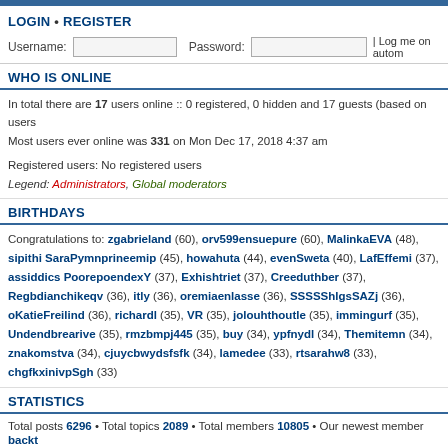LOGIN • REGISTER
Username: [input] Password: [input] | Log me on autom
WHO IS ONLINE
In total there are 17 users online :: 0 registered, 0 hidden and 17 guests (based on users Most users ever online was 331 on Mon Dec 17, 2018 4:37 am

Registered users: No registered users
Legend: Administrators, Global moderators
BIRTHDAYS
Congratulations to: zgabrieland (60), orv599ensuepure (60), MalinkaEVA (48), sipithi SaraPymnprineemip (45), howahuta (44), evenSweta (40), LafEffemi (37), assiddics PoorepoendexY (37), Exhishtriet (37), Creeduthber (37), Regbdianchikeqv (36), itly (36), oremiaenlasse (36), SSSSShlgsSAZj (36), oKatieFreilind (36), richardl (35), VR (35), jolouhthoutle (35), immingurf (35), Undendbrearive (35), rmzbmpj445 (35), buy (34), ypfnydl (34), Themitemn (34), znakomstva (34), cjuycbwydsfsfk (34), lamedee (33), rtsarahw8 (33), chgfkxinivpSgh (33)
STATISTICS
Total posts 6296 • Total topics 2089 • Total members 10805 • Our newest member backt
Board index | The team • | Powered by phpBB © 2000, 2002, 2005, 2007 phpBB